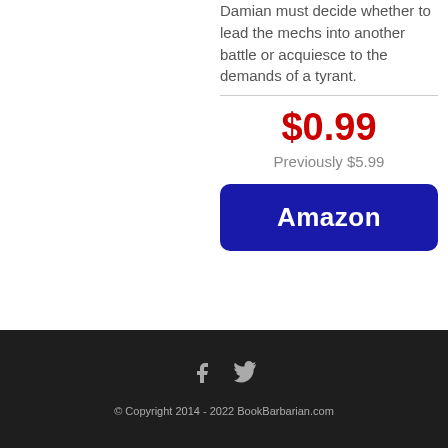Damian must decide whether to lead the mechs into another battle or acquiesce to the demands of a tyrant.
$0.99
Previously $5.99
[Figure (other): Amazon button - dark blue rounded rectangle with white 'Amazon' text]
© Copyright 2014 - 2022 BookBarbarian.com